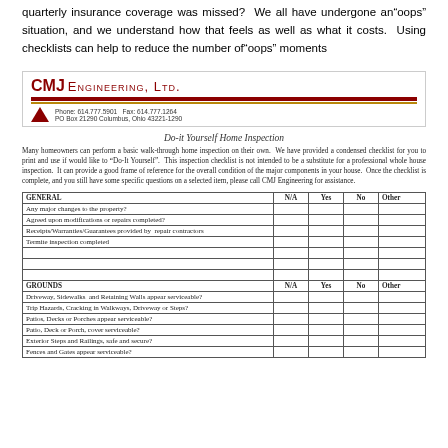quarterly insurance coverage was missed? We all have undergone an"oops" situation, and we understand how that feels as well as what it costs. Using checklists can help to reduce the number of"oops" moments
[Figure (logo): CMJ Engineering, Ltd. logo with red and gold horizontal stripes, red triangle, phone 614.777.5901, fax 614.777.1264, PO Box 21290 Columbus, Ohio 43221-1290]
Do-it Yourself Home Inspection
Many homeowners can perform a basic walk-through home inspection on their own. We have provided a condensed checklist for you to print and use if would like to "Do-It Yourself". This inspection checklist is not intended to be a substitute for a professional whole house inspection. It can provide a good frame of reference for the overall condition of the major components in your house. Once the checklist is complete, and you still have some specific questions on a selected item, please call CMJ Engineering for assistance.
| GENERAL | N/A | Yes | No | Other |
| --- | --- | --- | --- | --- |
| Any major changes to the property? |  |  |  |  |
| Agreed upon modifications or repairs completed? |  |  |  |  |
| Receipts/Warranties/Guarantees provided by repair contractors |  |  |  |  |
| Termite inspection completed |  |  |  |  |
|  |  |  |  |  |
|  |  |  |  |  |
|  |  |  |  |  |
| GROUNDS | N/A | Yes | No | Other |
| Driveway, Sidewalks and Retaining Walls appear serviceable? |  |  |  |  |
| Trip Hazards, Cracking in Walkways, Driveway or Steps? |  |  |  |  |
| Patios, Decks or Porches appear serviceable? |  |  |  |  |
| Patio, Deck or Porch, cover serviceable? |  |  |  |  |
| Exterior Steps and Railings, safe and secure? |  |  |  |  |
| Fences and Gates appear serviceable? |  |  |  |  |